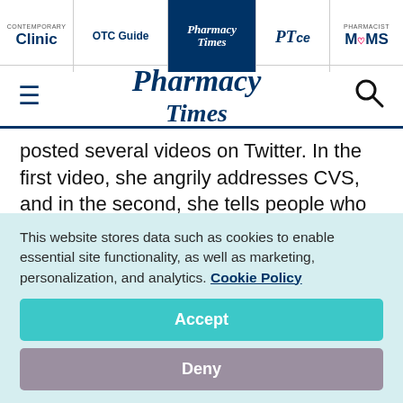Clinic | OTC Guide | Pharmacy Times | PTce | Pharmacist MOMS
[Figure (logo): Pharmacy Times logo with hamburger menu and search icon]
posted several videos on Twitter. In the first video, she angrily addresses CVS, and in the second, she tells people who disagree with her to "kindly *expletive* off."
This website stores data such as cookies to enable essential site functionality, as well as marketing, personalization, and analytics. Cookie Policy
Accept
Deny